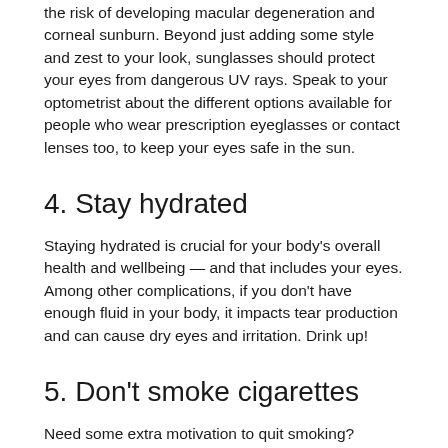the risk of developing macular degeneration and corneal sunburn. Beyond just adding some style and zest to your look, sunglasses should protect your eyes from dangerous UV rays. Speak to your optometrist about the different options available for people who wear prescription eyeglasses or contact lenses too, to keep your eyes safe in the sun.
4. Stay hydrated
Staying hydrated is crucial for your body's overall health and wellbeing — and that includes your eyes. Among other complications, if you don't have enough fluid in your body, it impacts tear production and can cause dry eyes and irritation. Drink up!
5. Don't smoke cigarettes
Need some extra motivation to quit smoking?
Smokers are more prone to developing age-related macular degeneration, cataracts, and other eye conditions. Cigarette smoking can also destroy optic nerves, which